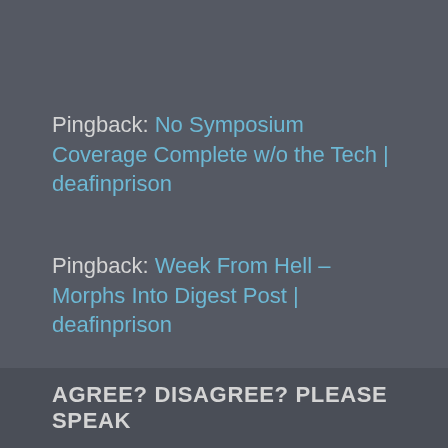Pingback: No Symposium Coverage Complete w/o the Tech | deafinprison
Pingback: Week From Hell – Morphs Into Digest Post | deafinprison
Pingback: My 12 Favorite Posts of 2013 | deafinprison
AGREE? DISAGREE? PLEASE SPEAK